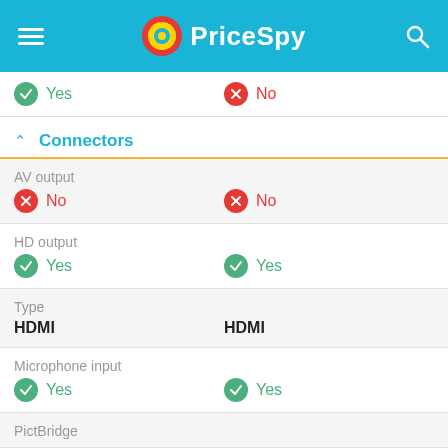PriceSpy
| Feature | Value 1 | Value 2 |
| --- | --- | --- |
|  | Yes | No |
| AV output | No | No |
| HD output | Yes | Yes |
| Type | HDMI | HDMI |
| Microphone input | Yes | Yes |
| PictBridge |  |  |